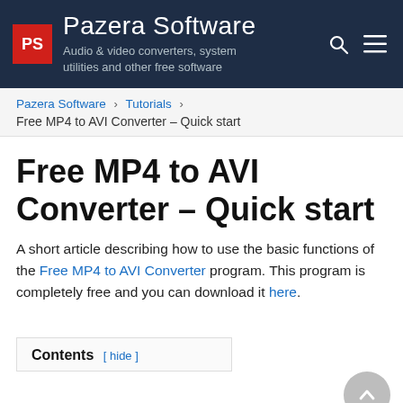Pazera Software – Audio & video converters, system utilities and other free software
Pazera Software › Tutorials › Free MP4 to AVI Converter – Quick start
Free MP4 to AVI Converter – Quick start
A short article describing how to use the basic functions of the Free MP4 to AVI Converter program. This program is completely free and you can download it here.
Contents [hide]